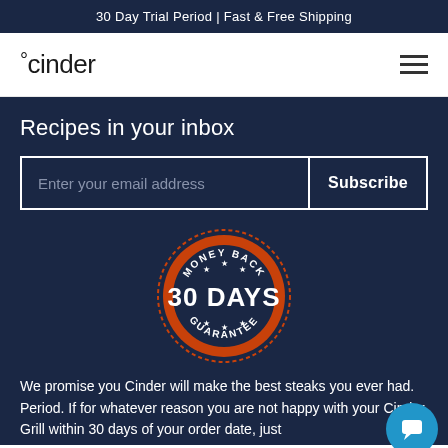30 Day Trial Period | Fast & Free Shipping
[Figure (logo): Cinder brand logo with degree symbol]
Recipes in your inbox
Enter your email address
Subscribe
[Figure (illustration): 30 Days Money Back Guarantee badge — circular orange and navy badge with text MONEY BACK, 30 DAYS, GUARANTEE and stars]
We promise you Cinder will make the best steaks you ever had. Period. If for whatever reason you are not happy with your Cinder Grill within 30 days of your order date, just